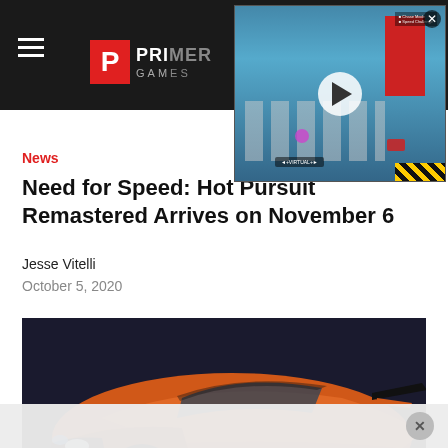Prime Games
[Figure (screenshot): Video game screenshot overlay with play button, showing a top-down racing/city game scene with red building and road markings]
News
Need for Speed: Hot Pursuit Remastered Arrives on November 6
Jesse Vitelli
October 5, 2020
[Figure (photo): Orange/red sports car (Pagani Zonda style) close-up front quarter view, dramatic lighting with dark background]
×